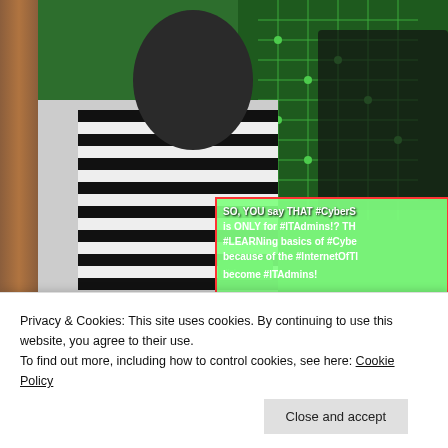[Figure (photo): Screenshot of a website showing a hacker in black and white striped shirt in front of a green circuit board, with a green text overlay box containing cybersecurity hashtag text, bordered by a red outline]
Click the image, please, to access
Advertisements
[Figure (logo): Pressable logo with blue/dark square P icon and the word Pressable in bold, followed by a dotted line]
Privacy & Cookies: This site uses cookies. By continuing to use this website, you agree to their use.
To find out more, including how to control cookies, see here: Cookie Policy
Close and accept